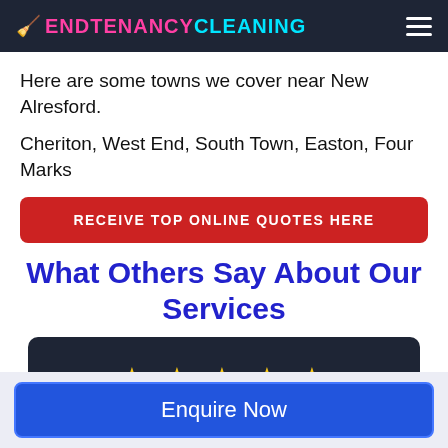🧹 ENDTENANCYCLEANING
Here are some towns we cover near New Alresford.
Cheriton, West End, South Town, Easton, Four Marks
RECEIVE TOP ONLINE QUOTES HERE
What Others Say About Our Services
[Figure (other): Five gold star rating inside a dark card]
Enquire Now